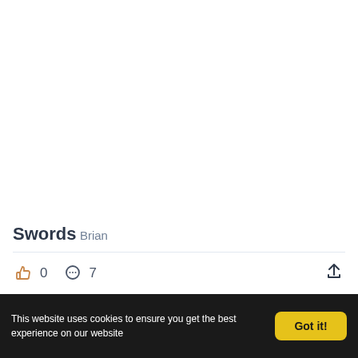Swords
Brian
0  7
This website uses cookies to ensure you get the best experience on our website  Got it!